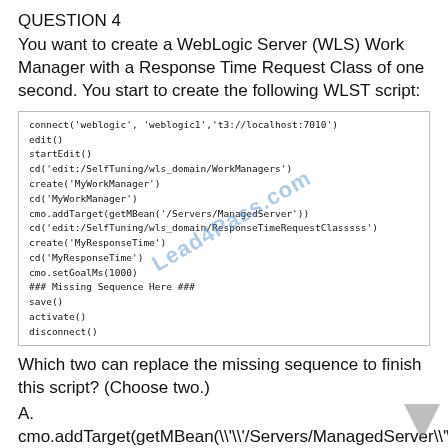QUESTION 4
You want to create a WebLogic Server (WLS) Work Manager with a Response Time Request Class of one second. You start to create the following WLST script:
[Figure (screenshot): Code block showing a WLST script with connect, edit, startEdit, cd, create, cmo.addTarget, cd, create, cd, cmo.setGoalMs, ### Missing Sequence Here ###, save, activate, disconnect calls. Watermark 'Lead4Pass.com' overlaid diagonally.]
Which two can replace the missing sequence to finish this script? (Choose two.)
A.
cmo.addTarget(getMBean(\'\'/Servers/ManagedServer\'\'))
cd(\'\' edit:/SelfTuning/wls_domain/WorkManagers/MyWorkManager\'\')